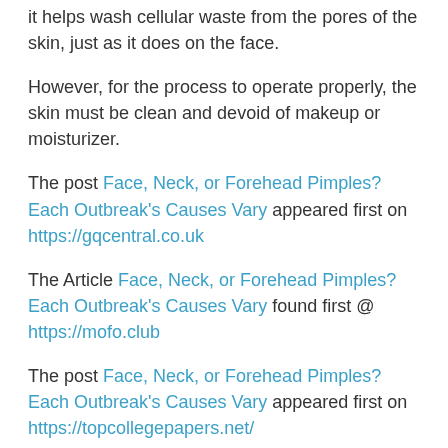it helps wash cellular waste from the pores of the skin, just as it does on the face.
However, for the process to operate properly, the skin must be clean and devoid of makeup or moisturizer.
The post Face, Neck, or Forehead Pimples? Each Outbreak's Causes Vary appeared first on https://gqcentral.co.uk
The Article Face, Neck, or Forehead Pimples? Each Outbreak's Causes Vary found first @ https://mofo.club
The post Face, Neck, or Forehead Pimples? Each Outbreak's Causes Vary appeared first on https://topcollegepapers.net/
[Figure (other): Small document/file icon at bottom center of page]